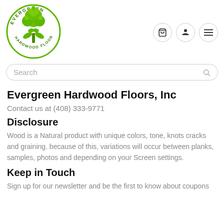[Figure (logo): Evergreen Hardwood Floors circular green logo with tree and hands]
[Figure (other): Navigation icons: shopping cart, user profile, hamburger menu]
Search
Evergreen Hardwood Floors, Inc
Contact us at (408) 333-9771
Disclosure
Wood is a Natural product with unique colors, tone, knots cracks and graining. because of this, variations will occur between planks, samples, photos and depending on your Screen settings.
Keep in Touch
Sign up for our newsletter and be the first to know about coupons